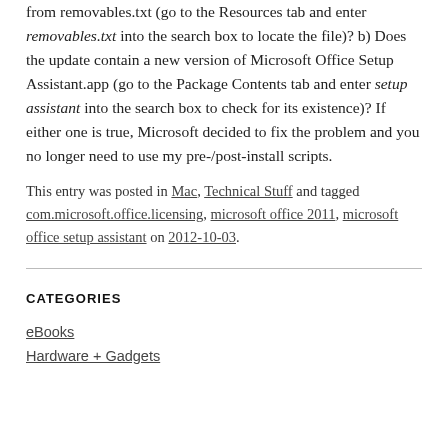from removables.txt (go to the Resources tab and enter removables.txt into the search box to locate the file)? b) Does the update contain a new version of Microsoft Office Setup Assistant.app (go to the Package Contents tab and enter setup assistant into the search box to check for its existence)? If either one is true, Microsoft decided to fix the problem and you no longer need to use my pre-/post-install scripts.
This entry was posted in Mac, Technical Stuff and tagged com.microsoft.office.licensing, microsoft office 2011, microsoft office setup assistant on 2012-10-03.
CATEGORIES
eBooks
Hardware + Gadgets